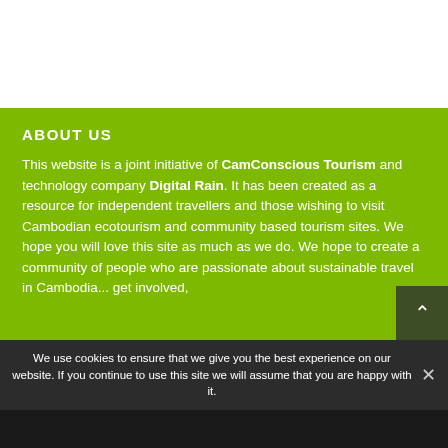ABOUT US
This website is a joint initiative of CamConscious Tourism and technology company Digital Rain. It has been created as a resource for independent travellers and those wishing to visit Cambodian ecotourism and community based tourism sites. We hope you will love this site as much as we do. We hope to create a community of people who are passionate about sustainable travel in Cambodia... get involved,
We use cookies to ensure that we give you the best experience on our website. If you continue to use this site we will assume that you are happy with it.
Ok
Share This